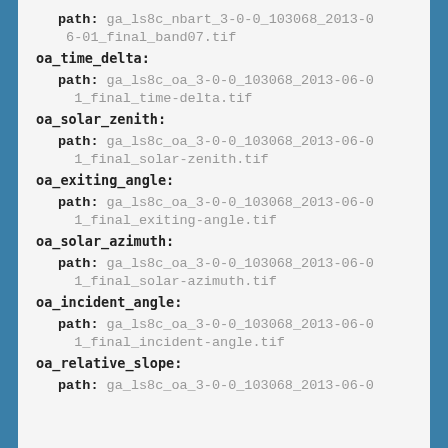path: ga_ls8c_nbart_3-0-0_103068_2013-06-01_final_band07.tif
oa_time_delta:
  path: ga_ls8c_oa_3-0-0_103068_2013-06-01_final_time-delta.tif
oa_solar_zenith:
  path: ga_ls8c_oa_3-0-0_103068_2013-06-01_final_solar-zenith.tif
oa_exiting_angle:
  path: ga_ls8c_oa_3-0-0_103068_2013-06-01_final_exiting-angle.tif
oa_solar_azimuth:
  path: ga_ls8c_oa_3-0-0_103068_2013-06-01_final_solar-azimuth.tif
oa_incident_angle:
  path: ga_ls8c_oa_3-0-0_103068_2013-06-01_final_incident-angle.tif
oa_relative_slope:
  path: ga_ls8c_oa_3-0-0_103068_2013-06-0